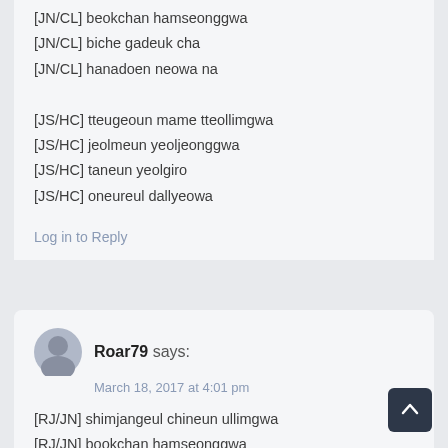[JN/CL] beokchan hamseonggwa
[JN/CL] biche gadeuk cha
[JN/CL] hanadoen neowa na

[JS/HC] tteugeoun mame tteollimgwa
[JS/HC] jeolmeun yeoljeonggwa
[JS/HC] taneun yeolgiro
[JS/HC] oneureul dallyeowa
Log in to Reply
Roar79 says:
March 18, 2017 at 4:01 pm
[RJ/JN] shimjangeul chineun ullimgwa
[RJ/JN] bookchan hamseonggwa